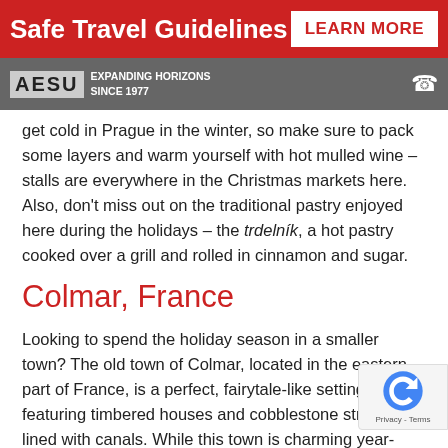Safe Travel Guidelines  LEARN MORE
[Figure (logo): AESU Expanding Horizons Since 1977 logo on gray bar with phone icon]
get cold in Prague in the winter, so make sure to pack some [layers] and [warm] yourself with hot mulled wine – stalls are everywhere in the Christmas markets here. Also, don't miss out on the traditional pastry enjoyed here during the holidays – the trdelník, a hot pastry cooked over a grill and rolled in cinnamon and sugar.
Colmar, France
Looking to spend the holiday season in a smaller town? The old town of Colmar, located in the eastern part of France, is a perfect, fairytale-like setting, featuring timbered houses and cobblestone streets lined with canals. While this town is charming year-round, the charm is turned up to 11 during the Christmas season. The timbered homes are lined with twinkling lights, an ice-skating rink is set up, and the famed carousel brings joy. Don't miss out on a performance from a local children's choir as well as a visit to the Christmas market.